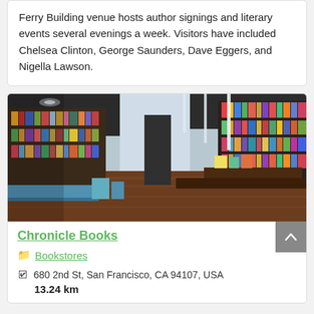Ferry Building venue hosts author signings and literary events several evenings a week. Visitors have included Chelsea Clinton, George Saunders, Dave Eggers, and Nigella Lawson.
[Figure (photo): Interior of Chronicle Books bookstore showing long shelves of colorful books on both sides, wooden floors, pendant lighting from ceiling, and display tables in the center.]
Chronicle Books
Bookstores
680 2nd St, San Francisco, CA 94107, USA
13.24 km